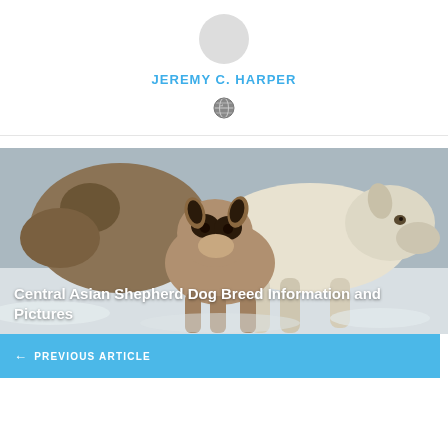JEREMY C. HARPER
[Figure (photo): Two Central Asian Shepherd dogs in snow, one adult white dog and one puppy with brown and black markings, with overlaid article title text 'Central Asian Shepherd Dog Breed Information and Pictures' and a blue 'PREVIOUS ARTICLE' navigation bar at the bottom]